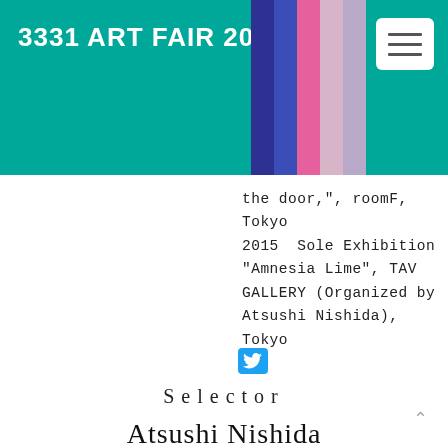3331 ART FAIR 2021
the door,", roomF, Tokyo
2015  Sole Exhibition
"Amnesia Lime", TAV
GALLERY (Organized by
Atsushi Nishida), Tokyo
[Figure (logo): Twitter bird icon in a rounded blue square]
Selector
Atsushi Nishida